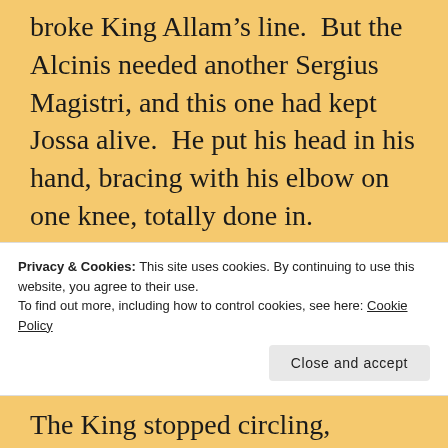broke King Allam’s line.  But the Alcinis needed another Sergius Magistri, and this one had kept Jossa alive.  He put his head in his hand, bracing with his elbow on one knee, totally done in.
He felt Allam’s hand on his shoulder.
“Well done,” the King said.  “Very well done indeed.”
Privacy & Cookies: This site uses cookies. By continuing to use this website, you agree to their use.
To find out more, including how to control cookies, see here: Cookie Policy
The King stopped circling, sinking